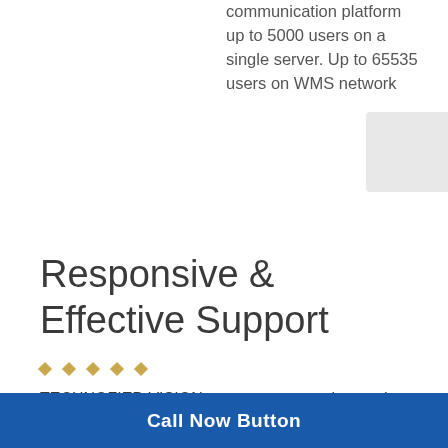communication platform up to 5000 users on a single server. Up to 65535 users on WMS network
Responsive & Effective Support
TECHNOFIED VISION was very responsive, and
Call Now Button